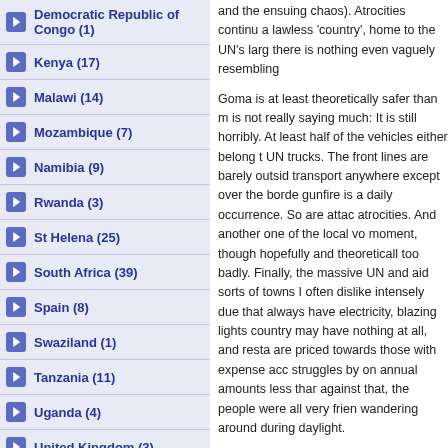Democratic Republic of Congo (1)
Kenya (17)
Malawi (14)
Mozambique (7)
Namibia (9)
Rwanda (3)
St Helena (25)
South Africa (39)
Spain (8)
Swaziland (1)
Tanzania (11)
Uganda (4)
United Kingdom (3)
USA (13)
Zambia (8)
Zimbabwe (4)
and the ensuing chaos). Atrocities continu a lawless 'country', home to the UN's larg there is nothing even vaguely resembling
Goma is at least theoretically safer than m is not really saying much: It is still horribly. At least half of the vehicles either belong t UN trucks. The front lines are barely outsid transport anywhere except over the borde gunfire is a daily occurrence. So are attac atrocities. And another one of the local vo moment, though hopefully and theoreticall too badly. Finally, the massive UN and aid sorts of towns I often dislike intensely due that always have electricity, blazing lights country may have nothing at all, and resta are priced towards those with expense acc struggles by on annual amounts less thar against that, the people were all very frier wandering around during daylight.
Goma is also a place of obvious signs of s were treated to the very strange sight of in large number of large houses being c